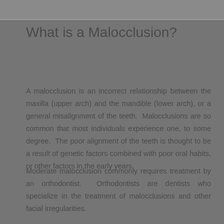What is a Malocclusion?
A malocclusion is an incorrect relationship between the maxilla (upper arch) and the mandible (lower arch), or a general misalignment of the teeth. Malocclusions are so common that most individuals experience one, to some degree. The poor alignment of the teeth is thought to be a result of genetic factors combined with poor oral habits, or other factors in the early years.
Moderate malocclusion commonly requires treatment by an orthodontist. Orthodontists are dentists who specialize in the treatment of malocclusions and other facial irregularities.